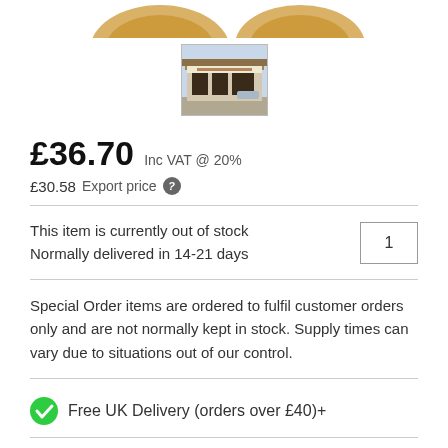[Figure (photo): Partial product image at top of page (cropped, shows bottom of product)]
[Figure (photo): Small thumbnail of a store front building with signage]
£36.70 Inc VAT @ 20%
£30.58 Export price ?
This item is currently out of stock
Normally delivered in 14-21 days
Special Order items are ordered to fulfil customer orders only and are not normally kept in stock. Supply times can vary due to situations out of our control.
Free UK Delivery (orders over £40)+